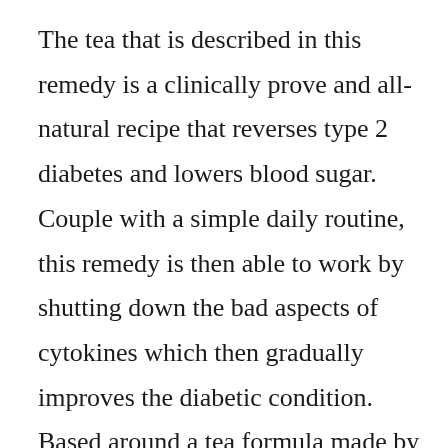The tea that is described in this remedy is a clinically prove and all-natural recipe that reverses type 2 diabetes and lowers blood sugar. Couple with a simple daily routine, this remedy is then able to work by shutting down the bad aspects of cytokines which then gradually improves the diabetic condition. Based around a tea formula made by tribes in Northern Thailand, this tea is made from a recipe of spices and herbs, which when combined have great health benefits on